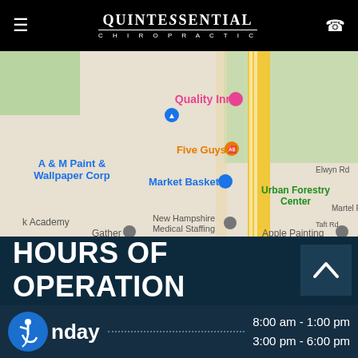Quintessential Chiropractic
[Figure (map): Google Maps view showing nearby businesses including A & M Paint & Wallpaper Corp, Quality Inn, Five Guys, Market Basket, Urban Forestry Center, New Hampshire Medical Staffing, Gather, Apple Painting, Elwyn Rd, Martel Power, Taft Rd, Academy]
HOURS OF OPERATION
Monday 8:00 am - 1:00 pm 3:00 pm - 6:00 pm